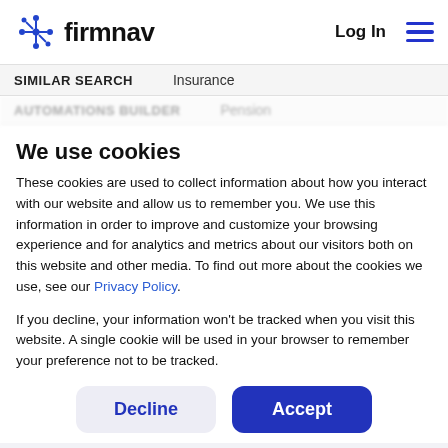firmnav  Log In
SIMILAR SEARCH   Insurance
AUTOMATIONS BUILDER   Pension
We use cookies
These cookies are used to collect information about how you interact with our website and allow us to remember you. We use this information in order to improve and customize your browsing experience and for analytics and metrics about our visitors both on this website and other media. To find out more about the cookies we use, see our Privacy Policy.
If you decline, your information won't be tracked when you visit this website. A single cookie will be used in your browser to remember your preference not to be tracked.
Decline   Accept